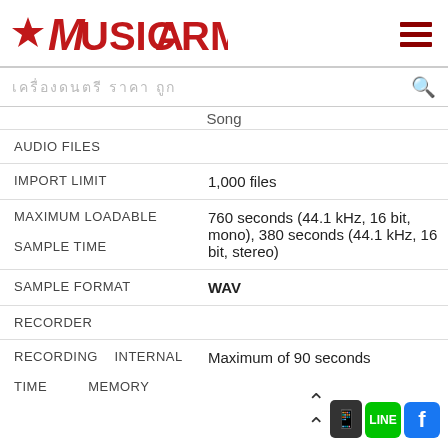[Figure (logo): MusicArms logo with red star and red stylized text]
เครื่องดนตรี ราคา ถูก
Song
|  |  |
| --- | --- |
| AUDIO FILES |  |
| IMPORT LIMIT | 1,000 files |
| MAXIMUM LOADABLE
SAMPLE TIME | 760 seconds (44.1 kHz, 16 bit, mono), 380 seconds (44.1 kHz, 16 bit, stereo) |
| SAMPLE FORMAT | WAV |
| RECORDER |  |
| RECORDING    INTERNAL
TIME             MEMORY | Maximum of 90 seconds |